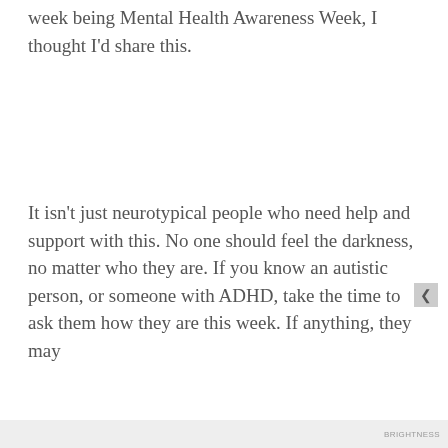week being Mental Health Awareness Week, I thought I'd share this.
It isn't just neurotypical people who need help and support with this. No one should feel the darkness, no matter who they are. If you know an autistic person, or someone with ADHD, take the time to ask them how they are this week. If anything, they may
Privacy & Cookies: This site uses cookies. By continuing to use this website, you agree to their use.
To find out more, including how to control cookies, see here: Cookie Policy
Close and accept